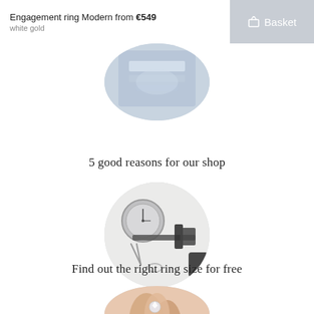Engagement ring Modern from €549
white gold
Basket
[Figure (photo): Circular cropped photo of engagement ring product, partially visible at top of page]
5 good reasons for our shop
[Figure (photo): Circular cropped photo of jewelry measuring tools: a round gauge, caliper/micrometer, tweezers, and a small ring on a white surface]
Find out the right ring size for free
[Figure (photo): Circular cropped photo of hands wearing an engagement ring with diamond, partially visible at bottom of page]